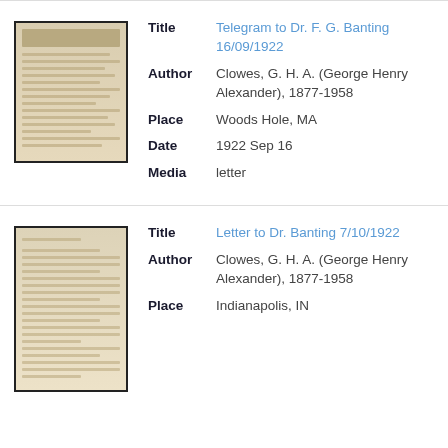[Figure (photo): Thumbnail of a telegram document with decorative header]
| Title | Telegram to Dr. F. G. Banting 16/09/1922 |
| Author | Clowes, G. H. A. (George Henry Alexander), 1877-1958 |
| Place | Woods Hole, MA |
| Date | 1922 Sep 16 |
| Media | letter |
[Figure (photo): Thumbnail of a letter document, typed text on aged paper]
| Title | Letter to Dr. Banting 7/10/1922 |
| Author | Clowes, G. H. A. (George Henry Alexander), 1877-1958 |
| Place | Indianapolis, IN |